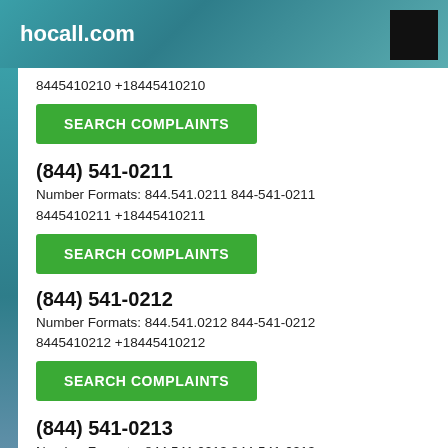hocall.com
8445410210 +18445410210
SEARCH COMPLAINTS
(844) 541-0211
Number Formats: 844.541.0211 844-541-0211 8445410211 +18445410211
SEARCH COMPLAINTS
(844) 541-0212
Number Formats: 844.541.0212 844-541-0212 8445410212 +18445410212
SEARCH COMPLAINTS
(844) 541-0213
Number Formats: 844.541.0213 844-541-0213